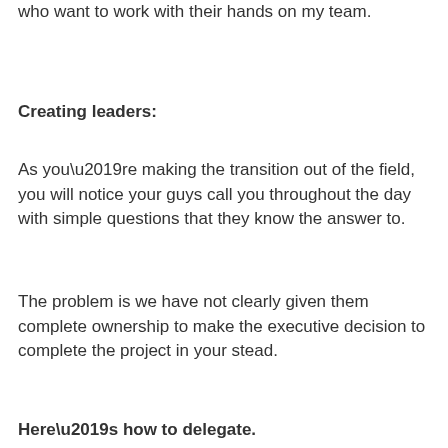who want to work with their hands on my team.
Creating leaders:
As you’re making the transition out of the field, you will notice your guys call you throughout the day with simple questions that they know the answer to.
The problem is we have not clearly given them complete ownership to make the executive decision to complete the project in your stead.
Here’s how to delegate.